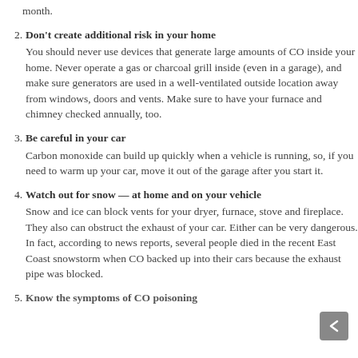month.
2. Don't create additional risk in your home
You should never use devices that generate large amounts of CO inside your home. Never operate a gas or charcoal grill inside (even in a garage), and make sure generators are used in a well-ventilated outside location away from windows, doors and vents. Make sure to have your furnace and chimney checked annually, too.
3. Be careful in your car
Carbon monoxide can build up quickly when a vehicle is running, so, if you need to warm up your car, move it out of the garage after you start it.
4. Watch out for snow — at home and on your vehicle
Snow and ice can block vents for your dryer, furnace, stove and fireplace. They also can obstruct the exhaust of your car. Either can be very dangerous. In fact, according to news reports, several people died in the recent East Coast snowstorm when CO backed up into their cars because the exhaust pipe was blocked.
5. Know the symptoms of CO poisoning